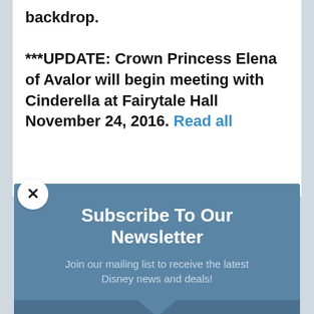backdrop. ***UPDATE: Crown Princess Elena of Avalor will begin meeting with Cinderella at Fairytale Hall November 24, 2016. Read all
Subscribe To Our Newsletter
Join our mailing list to receive the latest Disney news and deals!
EMAIL
SUBSCRIBE!